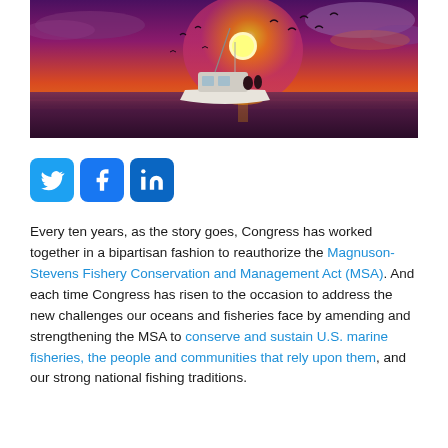[Figure (photo): A fishing boat silhouetted against a vivid orange and purple sunset over calm ocean water, with birds flying around the vessel.]
[Figure (infographic): Social media share icons: Twitter (blue bird), Facebook (blue f), LinkedIn (blue in)]
Every ten years, as the story goes, Congress has worked together in a bipartisan fashion to reauthorize the Magnuson-Stevens Fishery Conservation and Management Act (MSA). And each time Congress has risen to the occasion to address the new challenges our oceans and fisheries face by amending and strengthening the MSA to conserve and sustain U.S. marine fisheries, the people and communities that rely upon them, and our strong national fishing traditions.